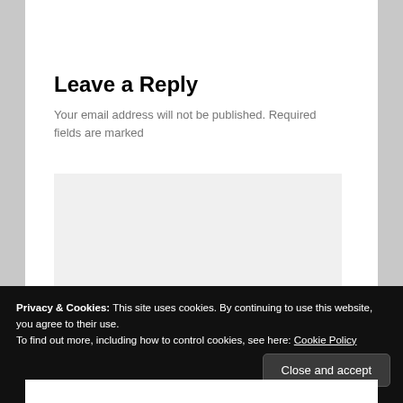Leave a Reply
Your email address will not be published. Required fields are marked
[Figure (screenshot): Empty light gray textarea input box for comment submission]
Privacy & Cookies: This site uses cookies. By continuing to use this website, you agree to their use.
To find out more, including how to control cookies, see here: Cookie Policy
Close and accept